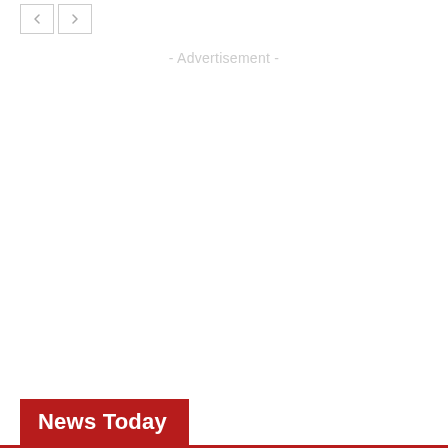[Figure (other): Navigation previous and next arrow buttons (left and right chevron icons) in small bordered boxes]
- Advertisement -
News Today